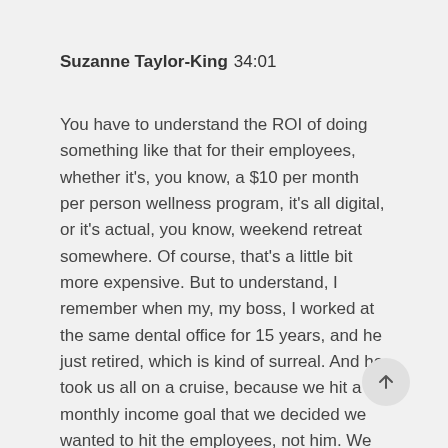Suzanne Taylor-King  34:01
You have to understand the ROI of doing something like that for their employees, whether it's, you know, a $10 per month per person wellness program, it's all digital, or it's actual, you know, weekend retreat somewhere. Of course, that's a little bit more expensive. But to understand, I remember when my, my boss, I worked at the same dental office for 15 years, and he just retired, which is kind of surreal. And he took us all on a cruise, because we hit a monthly income goal that we decided we wanted to hit the employees, not him. We decided we're going to do a million dollars